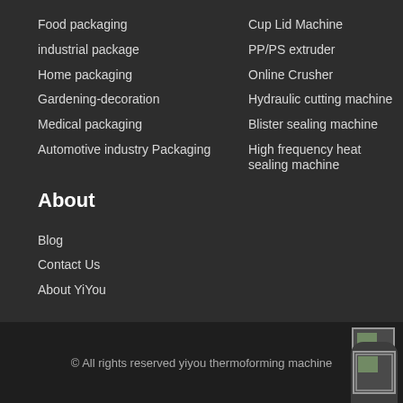Food packaging
Cup Lid Machine
industrial package
PP/PS extruder
Home packaging
Online Crusher
Gardening-decoration
Hydraulic cutting machine
Medical packaging
Blister sealing machine
Automotive industry Packaging
High frequency heat sealing machine
About
Blog
Contact Us
About YiYou
© All rights reserved yiyou thermoforming machine